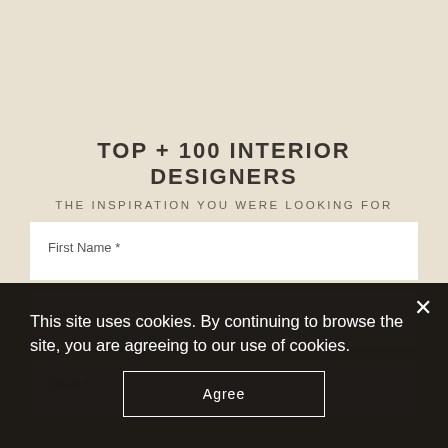TOP + 100 INTERIOR DESIGNERS
THE INSPIRATION YOU WERE LOOKING FOR
First Name *
Last Name *
Email *
This site uses cookies. By continuing to browse the site, you are agreeing to our use of cookies.
Agree